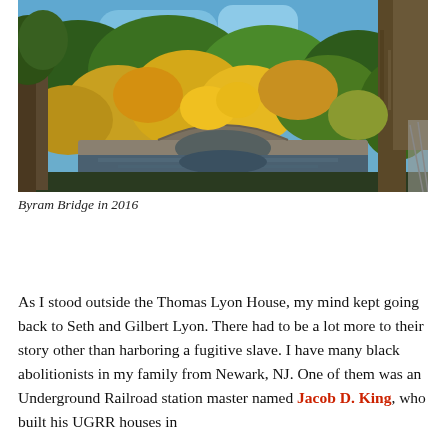[Figure (photo): Outdoor photograph of Byram Bridge taken in 2016, showing a stone arch bridge over water surrounded by autumn foliage trees with blue sky visible above.]
Byram Bridge in 2016
As I stood outside the Thomas Lyon House, my mind kept going back to Seth and Gilbert Lyon. There had to be a lot more to their story other than harboring a fugitive slave. I have many black abolitionists in my family from Newark, NJ. One of them was an Underground Railroad station master named Jacob D. King, who built his UGRR houses in